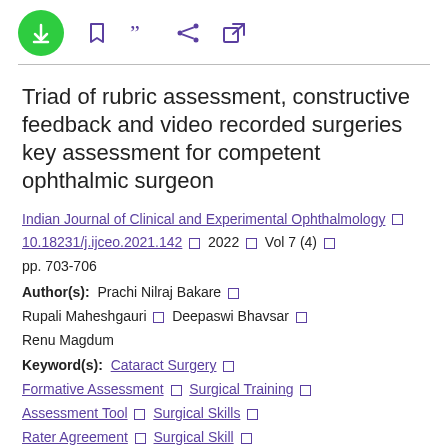Triad of rubric assessment, constructive feedback and video recorded surgeries key assessment for competent ophthalmic surgeon
Indian Journal of Clinical and Experimental Ophthalmology □ 10.18231/j.ijceo.2021.142 □ 2022 □ Vol 7 (4) □ pp. 703-706
Author(s): Prachi Nilraj Bakare □ Rupali Maheshgauri □ Deepaswi Bhavsar □ Renu Magdum
Keyword(s): Cataract Surgery □ Formative Assessment □ Surgical Training □ Assessment Tool □ Surgical Skills □ Rater Agreement □ Surgical Skill □